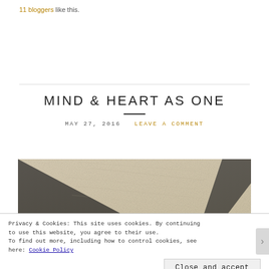11 bloggers like this.
MIND & HEART AS ONE
MAY 27, 2016   LEAVE A COMMENT
[Figure (photo): Black and white photo showing a dark triangular shape against a textured light-colored wall or surface]
Privacy & Cookies: This site uses cookies. By continuing to use this website, you agree to their use. To find out more, including how to control cookies, see here: Cookie Policy
Close and accept